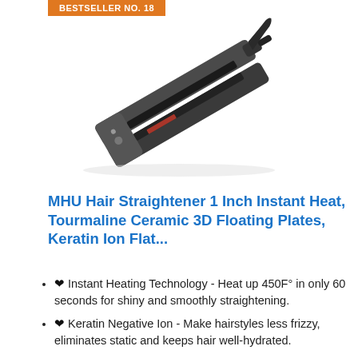BESTSELLER NO. 18
[Figure (photo): Product photo of MHU Hair Straightener flat iron, dark gray/black, shown at diagonal angle on white background]
MHU Hair Straightener 1 Inch Instant Heat, Tourmaline Ceramic 3D Floating Plates, Keratin Ion Flat...
❤ Instant Heating Technology - Heat up 450F° in only 60 seconds for shiny and smoothly straightening.
❤ Keratin Negative Ion - Make hairstyles less frizzy, eliminates static and keeps hair well-hydrated.
❤ 3D Floating Plates - Adjust to tension